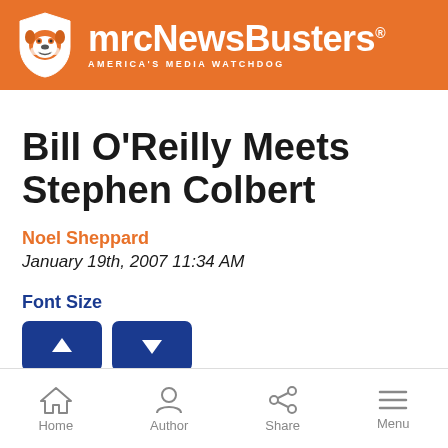mrcNewsBusters — AMERICA'S MEDIA WATCHDOG
Bill O'Reilly Meets Stephen Colbert
Noel Sheppard
January 19th, 2007 11:34 AM
Font Size
Home | Author | Share | Menu